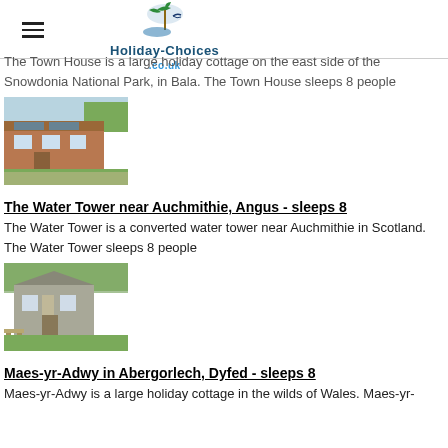Holiday-Choices.co.uk
The Town House is a large holiday cottage on the east side of the Snowdonia National Park, in Bala. The Town House sleeps 8 people
[Figure (photo): Photo of a brick holiday cottage building with solar panels on roof, green lawn in foreground]
The Water Tower near Auchmithie, Angus - sleeps 8
The Water Tower is a converted water tower near Auchmithie in Scotland. The Water Tower sleeps 8 people
[Figure (photo): Photo of a stone cottage with picnic table in garden, surrounded by trees]
Maes-yr-Adwy in Abergorlech, Dyfed - sleeps 8
Maes-yr-Adwy is a large holiday cottage in the wilds of Wales. Maes-yr-